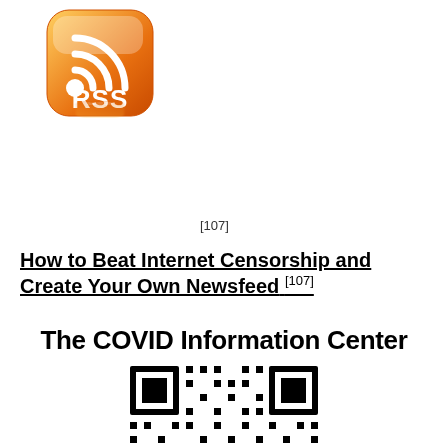[Figure (illustration): RSS feed orange icon with WiFi-like signal symbol and text RSS, with a reflection below it]
[107]
How to Beat Internet Censorship and Create Your Own Newsfeed [107]
The COVID Information Center
[Figure (other): QR code for The COVID Information Center]